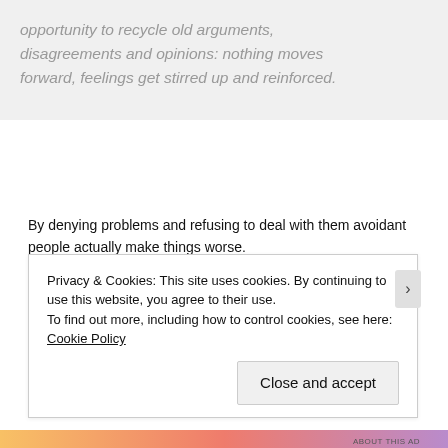opportunity to recycle old arguments, disagreements and opinions: nothing moves forward, feelings get stirred up and reinforced.
By denying problems and refusing to deal with them avoidant people actually make things worse.
They allow small problems to grow, and ensure there is never a resolution.  Nothing ever moves forward, and they end up stuck.
Privacy & Cookies: This site uses cookies. By continuing to use this website, you agree to their use.
To find out more, including how to control cookies, see here: Cookie Policy